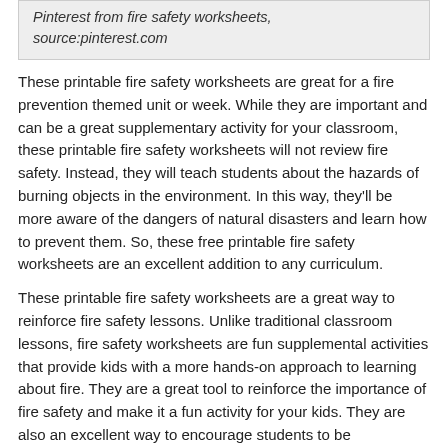Pinterest from fire safety worksheets, source:pinterest.com
These printable fire safety worksheets are great for a fire prevention themed unit or week. While they are important and can be a great supplementary activity for your classroom, these printable fire safety worksheets will not review fire safety. Instead, they will teach students about the hazards of burning objects in the environment. In this way, they'll be more aware of the dangers of natural disasters and learn how to prevent them. So, these free printable fire safety worksheets are an excellent addition to any curriculum.
These printable fire safety worksheets are a great way to reinforce fire safety lessons. Unlike traditional classroom lessons, fire safety worksheets are fun supplemental activities that provide kids with a more hands-on approach to learning about fire. They are a great tool to reinforce the importance of fire safety and make it a fun activity for your kids. They are also an excellent way to encourage students to be responsible around nature.
[Figure (other): Gray box at bottom of page, partially visible]